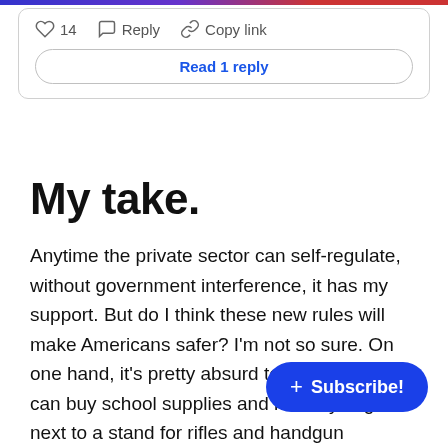[Figure (screenshot): Top colored gradient bar (blue to purple to red)]
♡ 14   Reply   Copy link
Read 1 reply
My take.
Anytime the private sector can self-regulate, without government interference, it has my support. But do I think these new rules will make Americans safer? I'm not so sure. On one hand, it's pretty absurd to me that you can buy school supplies and kids toys right next to a stand for rifles and handgun ammunition. Even as someone who occasionally enjoys sh[ooting], I never get used to that. But Walmar[t has some] of the most stringent gun purchasing laws in the country. Years ago, it increased the age limit to 21 to
[Figure (screenshot): Blue rounded Subscribe button with + icon in bottom right corner]